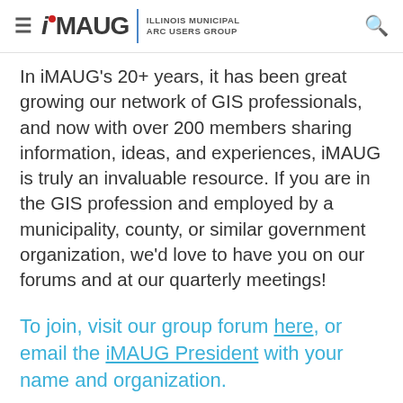iMAUG | Illinois Municipal Arc Users Group
In iMAUG's 20+ years, it has been great growing our network of GIS professionals, and now with over 200 members sharing information, ideas, and experiences, iMAUG is truly an invaluable resource. If you are in the GIS profession and employed by a municipality, county, or similar government organization, we'd love to have you on our forums and at our quarterly meetings!
To join, visit our group forum here, or email the iMAUG President with your name and organization.